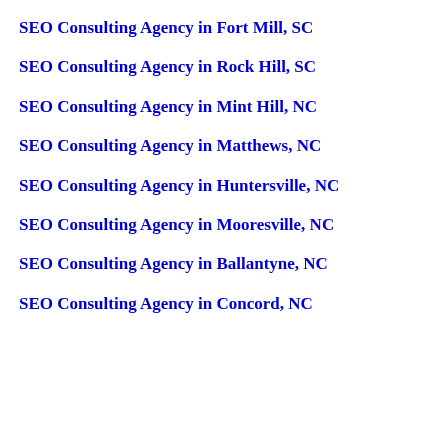SEO Consulting Agency in Fort Mill, SC
SEO Consulting Agency in Rock Hill, SC
SEO Consulting Agency in Mint Hill, NC
SEO Consulting Agency in Matthews, NC
SEO Consulting Agency in Huntersville, NC
SEO Consulting Agency in Mooresville, NC
SEO Consulting Agency in Ballantyne, NC
SEO Consulting Agency in Concord, NC